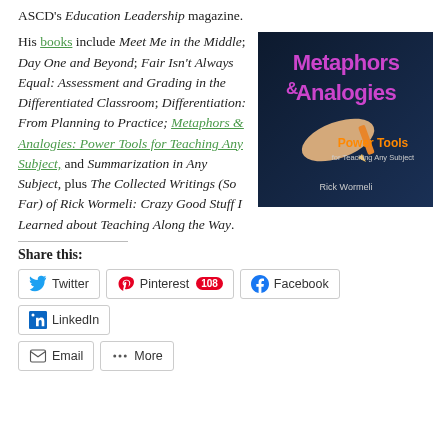ASCD's Education Leadership magazine.
His books include Meet Me in the Middle; Day One and Beyond; Fair Isn't Always Equal: Assessment and Grading in the Differentiated Classroom; Differentiation: From Planning to Practice; Metaphors & Analogies: Power Tools for Teaching Any Subject, and Summarization in Any Subject, plus The Collected Writings (So Far) of Rick Wormeli: Crazy Good Stuff I Learned about Teaching Along the Way.
[Figure (photo): Book cover for Metaphors & Analogies: Power Tools for Teaching Any Subject by Rick Wormeli. Dark blue/navy background with orange and purple text, showing a hand holding a pencil.]
Share this:
Twitter
Pinterest 108
Facebook
LinkedIn
Email
More